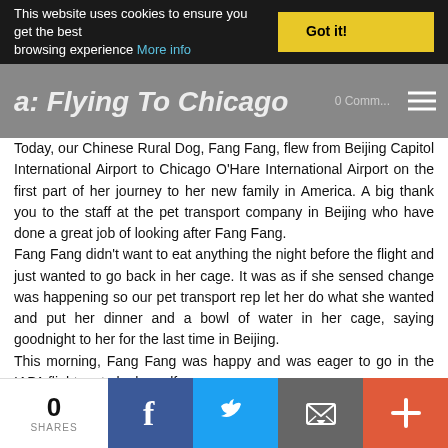This website uses cookies to ensure you get the best browsing experience More info | Got it!
Flying To Chicago
Today, our Chinese Rural Dog, Fang Fang, flew from Beijing Capitol International Airport to Chicago O'Hare International Airport on the first part of her journey to her new family in America. A big thank you to the staff at the pet transport company in Beijing who have done a great job of looking after Fang Fang.
Fang Fang didn't want to eat anything the night before the flight and just wanted to go back in her cage. It was as if she sensed change was happening so our pet transport rep let her do what she wanted and put her dinner and a bowl of water in her cage, saying goodnight to her for the last time in Beijing.
This morning, Fang Fang was happy and was eager to go in the IAPA flight crate by herself.
She definitely sensed that something exciting was going to happen!
Once Fang Fang reaches Chicago, she will have a rest and some food and water in the airport's pet hotel and tomorrow, she will make the connecting flight to Seattle to meet her new mommy!
0 SHARES | Facebook | Twitter | Email | More